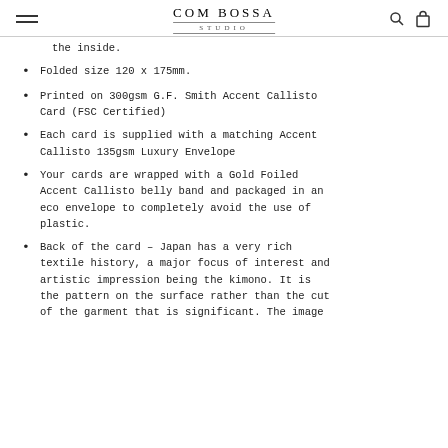COM BOSSA STUDIO
the inside.
Folded size 120 x 175mm.
Printed on 300gsm G.F. Smith Accent Callisto Card (FSC Certified)
Each card is supplied with a matching Accent Callisto 135gsm Luxury Envelope
Your cards are wrapped with a Gold Foiled Accent Callisto belly band and packaged in an eco envelope to completely avoid the use of plastic.
Back of the card – Japan has a very rich textile history, a major focus of interest and artistic impression being the kimono. It is the pattern on the surface rather than the cut of the garment that is significant. The image